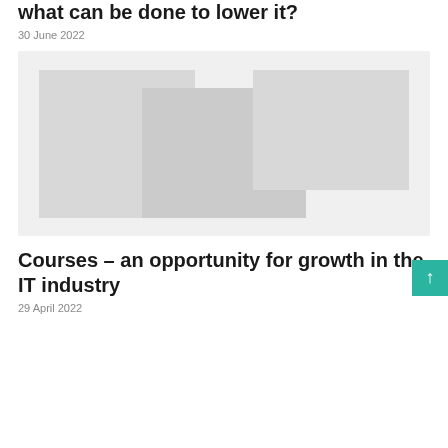what can be done to lower it?
30 June 2022
[Figure (photo): Faded/washed out photo of people in an IT or office environment, very light gray tones]
Courses – an opportunity for growth in the IT industry
29 April 2022